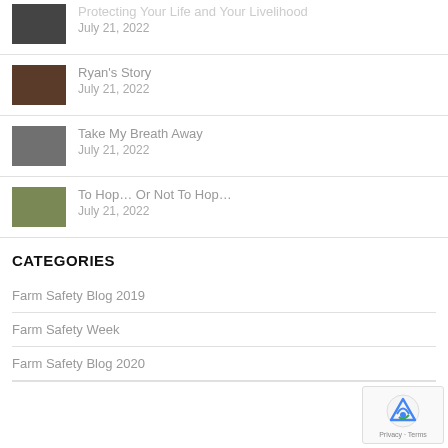Protecting Your Life and Your Livelihood
July 21, 2022
Ryan's Story
July 21, 2022
Take My Breath Away
July 21, 2022
To Hop... Or Not To Hop...
July 21, 2022
CATEGORIES
Farm Safety Blog 2019
Farm Safety Week
Farm Safety Blog 2020